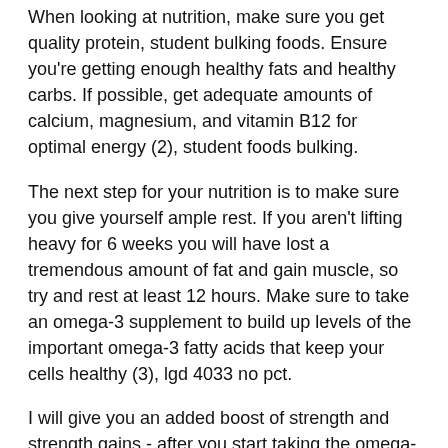When looking at nutrition, make sure you get quality protein, student bulking foods. Ensure you're getting enough healthy fats and healthy carbs. If possible, get adequate amounts of calcium, magnesium, and vitamin B12 for optimal energy (2), student foods bulking.
The next step for your nutrition is to make sure you give yourself ample rest. If you aren't lifting heavy for 6 weeks you will have lost a tremendous amount of fat and gain muscle, so try and rest at least 12 hours. Make sure to take an omega-3 supplement to build up levels of the important omega-3 fatty acids that keep your cells healthy (3), lgd 4033 no pct.
I will give you an added boost of strength and strength gains - after you start taking the omega-3 supplement.